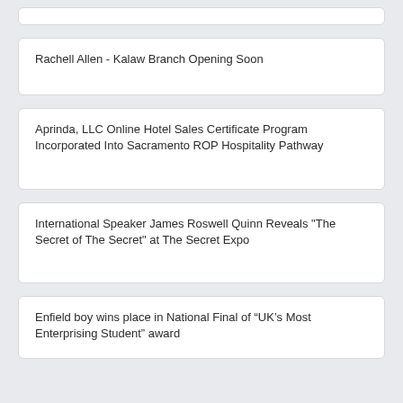Rachell Allen - Kalaw Branch Opening Soon
Aprinda, LLC Online Hotel Sales Certificate Program Incorporated Into Sacramento ROP Hospitality Pathway
International Speaker James Roswell Quinn Reveals "The Secret of The Secret" at The Secret Expo
Enfield boy wins place in National Final of “UK’s Most Enterprising Student” award